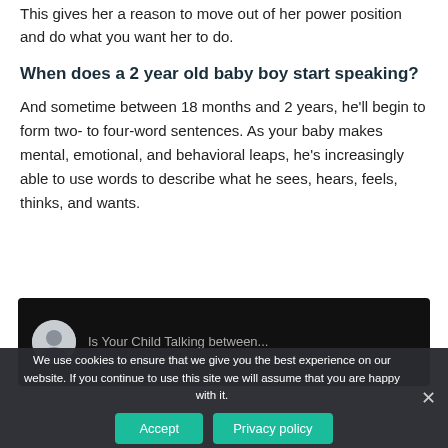This gives her a reason to move out of her power position and do what you want her to do.
When does a 2 year old baby boy start speaking?
And sometime between 18 months and 2 years, he'll begin to form two- to four-word sentences. As your baby makes mental, emotional, and behavioral leaps, he's increasingly able to use words to describe what he sees, hears, feels, thinks, and wants.
[Figure (screenshot): Video thumbnail with circular avatar photo of a person and partial text title on black background]
We use cookies to ensure that we give you the best experience on our website. If you continue to use this site we will assume that you are happy with it.